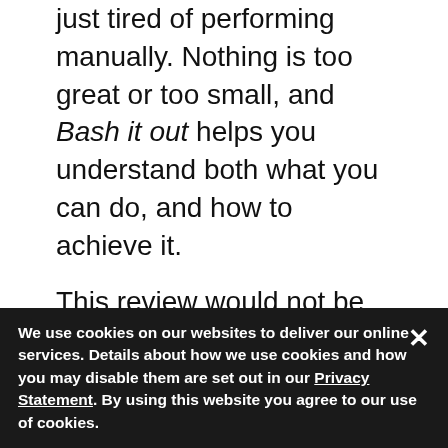just tired of performing manually. Nothing is too great or too small, and Bash it out helps you understand both what you can do, and how to achieve it.
This review would not be complete if I didn't mention David Both's free resource A sysadmin's guide to Bash scripting on Opensource.com. This 17-page PDF guide is different from Bash it out, but together they make a winning combination for anyone who wants to learn about it.
More Linux resources
We use cookies on our websites to deliver our online services. Details about how we use cookies and how you may disable them are set out in our Privacy Statement. By using this website you agree to our use of cookies.